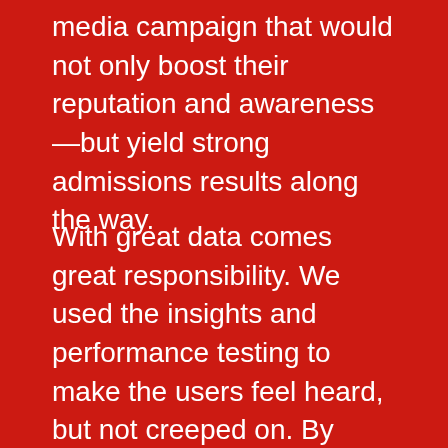media campaign that would not only boost their reputation and awareness—but yield strong admissions results along the way.
With great data comes great responsibility. We used the insights and performance testing to make the users feel heard, but not creeped on. By optimizing our creative along the way, we're able to modify our messaging based on what's performing well. This allows us to personalize the message and figure out what ads to curate